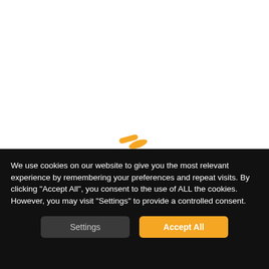[Figure (other): White background area with a small orange loading spinner/dash indicator near center-bottom of the white area]
We use cookies on our website to give you the most relevant experience by remembering your preferences and repeat visits. By clicking "Accept All", you consent to the use of ALL the cookies. However, you may visit "Settings" to provide a controlled consent.
Settings
Accept All